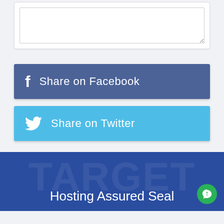[Figure (screenshot): A white form card containing a textarea input box with a resize handle in the bottom right corner.]
[Figure (screenshot): A dark blue button with a Facebook 'f' icon and the text 'Share on Facebook' in white.]
[Figure (screenshot): A light blue button with a Twitter bird icon and the text 'Share on Twitter' in white.]
Hosting Assured Seal